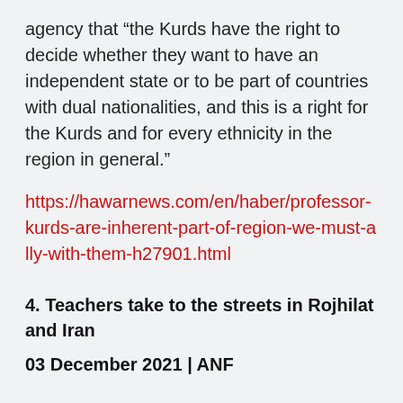agency that “the Kurds have the right to decide whether they want to have an independent state or to be part of countries with dual nationalities, and this is a right for the Kurds and for every ethnicity in the region in general.”
https://hawarnews.com/en/haber/professor-kurds-are-inherent-part-of-region-we-must-ally-with-them-h27901.html
4. Teachers take to the streets in Rojhilat and Iran
03 December 2021 | ANF